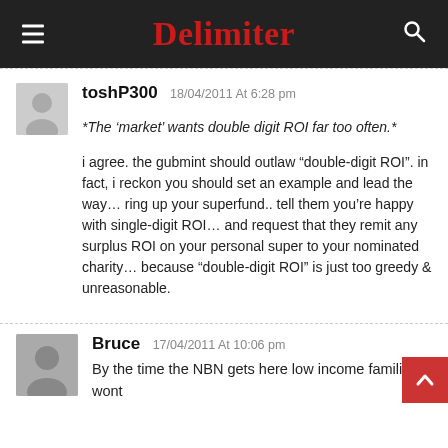Delimiter
toshP300 18/04/2011 At 6:28 pm
*The ‘market’ wants double digit ROI far too often.*

i agree. the gubmint should outlaw “double-digit ROI”. in fact, i reckon you should set an example and lead the way… ring up your superfund.. tell them you’re happy with single-digit ROI… and request that they remit any surplus ROI on your personal super to your nominated charity… because “double-digit ROI” is just too greedy & unreasonable.
Bruce 17/04/2011 At 10:06 pm
By the time the NBN gets here low income families wont